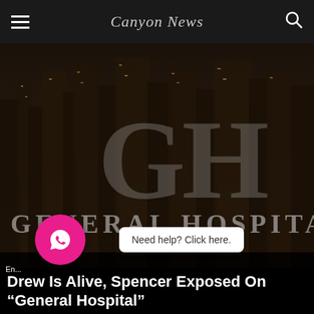Canyon News
[Figure (photo): General Hospital TV show title card against a dark city skyline background at night. Large 'GH' letters overlaid with 'GENERAL HOSPITAL' text in silver/grey.]
Entertainment
Drew Is Alive, Spencer Exposed On "General Hospital"